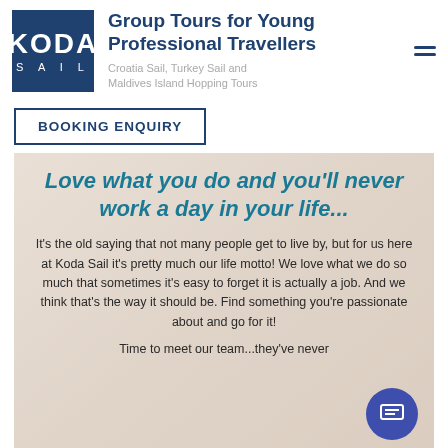[Figure (logo): Koda Sail logo — dark navy blue square with KODA in large white bold letters and SAIL in spaced smaller letters below]
Group Tours for Young Professional Travellers
Croatia Sail, Turkey Sail and Maldives Island Hopping Tours
BOOKING ENQUIRY
Love what you do and you'll never work a day in your life...
It's the old saying that not many people get to live by, but for us here at Koda Sail it's pretty much our life motto! We love what we do so much that sometimes it's easy to forget it is actually a job. And we think that's the way it should be. Find something you're passionate about and go for it!
Time to meet our team...they've never